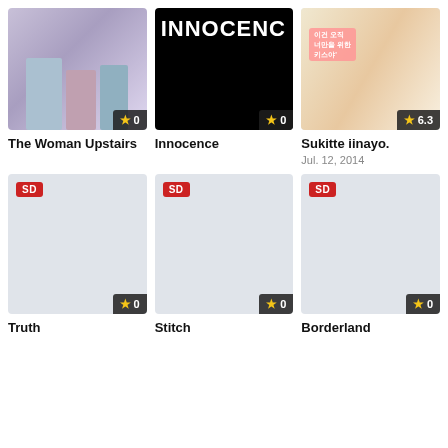[Figure (photo): Movie thumbnail for The Woman Upstairs showing three people]
The Woman Upstairs
[Figure (photo): Movie thumbnail for Innocence with black background and title text]
Innocence
[Figure (photo): Movie thumbnail for Sukitte iinayo. showing romantic scene]
Sukitte iinayo.
Jul. 12, 2014
[Figure (photo): Movie thumbnail for Truth with SD badge, rating 0]
Truth
[Figure (photo): Movie thumbnail for Stitch with SD badge, rating 0]
Stitch
[Figure (photo): Movie thumbnail for Borderland with SD badge, rating 0]
Borderland